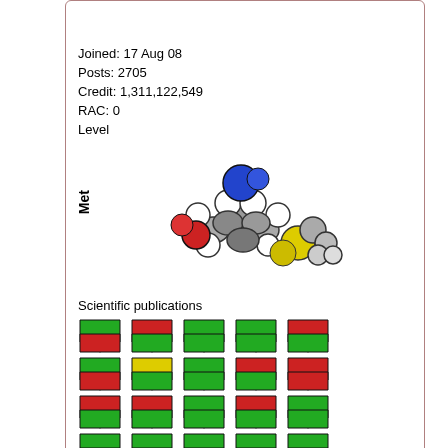Send message
Joined: 17 Aug 08
Posts: 2705
Credit: 1,311,122,549
RAC: 0
Level
[Figure (illustration): 3D molecular model labeled 'Met' showing a methionine amino acid molecule with colored spheres (blue, red, yellow, gray, white)]
Scientific publications
[Figure (infographic): Grid of 20 badge icons (4 rows x 5 columns) showing colored shield/badge shapes in green, red, yellow, and gray combinations]
ID: 24535 | Rating: 0 | rate: + / - x
Reply
Qu
[Figure (photo): User icon/avatar silhouette]
Retvari Zoltan
[Figure (photo): Photo of a person with glasses looking to the side]
Message 24536 - Posted: 22 Apr 2012 | 14:41:09
7B transistors seem fit for typical nVidia stra
They learned a lesson from the Fermi-fiasco not t